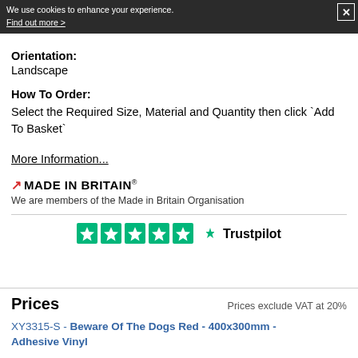We use cookies to enhance your experience. Find out more >
Aluminium Composite with Anti-Graffiti Coating
Orientation:
Landscape
How To Order:
Select the Required Size, Material and Quantity then click `Add To Basket`
More Information...
[Figure (logo): Made In Britain logo with red arrow and bold text, with registered trademark symbol]
We are members of the Made in Britain Organisation
[Figure (logo): Trustpilot logo with five green stars and Trustpilot wordmark]
Prices
Prices exclude VAT at 20%
XY3315-S - Beware Of The Dogs Red - 400x300mm - Adhesive Vinyl